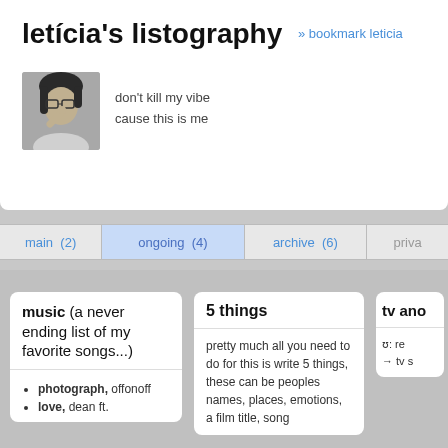letícia's listography
» bookmark leticia
[Figure (photo): Black and white profile photo of a person with short dark hair, holding something near their face, looking to the side.]
don't kill my vibe
cause this is me
main (2)  |  ongoing (4)  |  archive (6)  |  priva...
music (a never ending list of my favorite songs...)
photograph, offonoff
love, dean ft.
5 things
pretty much all you need to do for this is write 5 things, these can be peoples names, places, emotions, a film title, song
tv and...
ʊ: re...
→ tv s...